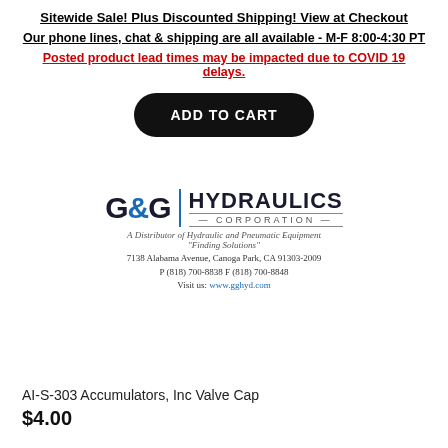Sitewide Sale! Plus Discounted Shipping! View at Checkout
Our phone lines, chat & shipping are all available - M-F 8:00-4:30 PT
Posted product lead times may be impacted due to COVID 19 delays.
[Figure (other): ADD TO CART button — black rounded rectangle with white bold text]
[Figure (logo): G&G Hydraulics Corporation logo with address: 7138 Alabama Avenue, Canoga Park, CA 91303-2009, P (818) 700-8838 F (818) 700-8848, Visit us: www.gghyd.com]
AI-S-303 Accumulators, Inc Valve Cap
$4.00